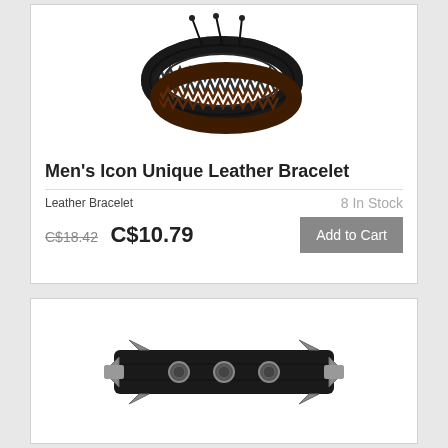[Figure (photo): Two braided leather bracelets stacked, one black and one dark brown, with adjustable cord closures]
Men's Icon Unique Leather Bracelet
Leather Bracelet    8 In Stock
C$18.42  C$10.79   Add to Cart
[Figure (photo): Black leather bracelet with metal spike studs and snap closure]